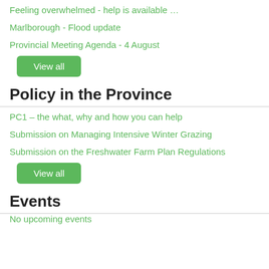Feeling overwhelmed - help is available …
Marlborough - Flood update
Provincial Meeting Agenda - 4 August
View all
Policy in the Province
PC1 – the what, why and how you can help
Submission on Managing Intensive Winter Grazing
Submission on the Freshwater Farm Plan Regulations
View all
Events
No upcoming events